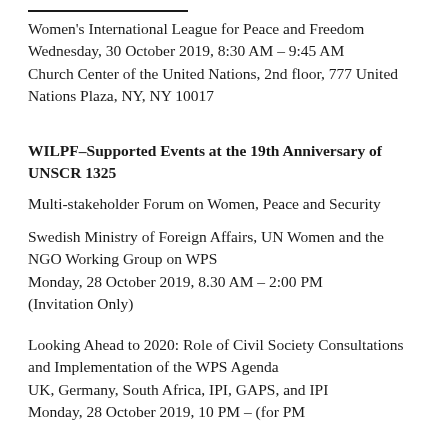Women's International League for Peace and Freedom
Wednesday, 30 October 2019, 8:30 AM – 9:45 AM
Church Center of the United Nations, 2nd floor, 777 United Nations Plaza, NY, NY 10017
WILPF–Supported Events at the 19th Anniversary of UNSCR 1325
Multi-stakeholder Forum on Women, Peace and Security
Swedish Ministry of Foreign Affairs, UN Women and the NGO Working Group on WPS
Monday, 28 October 2019, 8.30 AM – 2:00 PM
(Invitation Only)
Looking Ahead to 2020: Role of Civil Society Consultations and Implementation of the WPS Agenda
UK, Germany, South Africa, IPI, GAPS, and IPI
Monday, 28 October 2019, 10 PM – (for PM